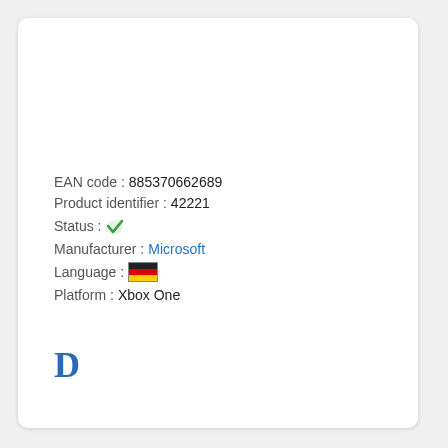EAN code : 885370662689
Product identifier : 42221
Status : ✔
Manufacturer : Microsoft
Language : [German flag]
Platform : Xbox One
D